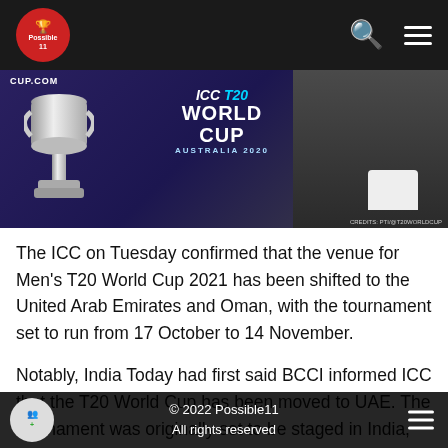[Figure (photo): Website header with Possible11 logo on dark nav bar and ICC T20 World Cup Australia 2020 promotional image showing the trophy and a person]
The ICC on Tuesday confirmed that the venue for Men's T20 World Cup 2021 has been shifted to the United Arab Emirates and Oman, with the tournament set to run from 17 October to 14 November.
Notably, India Today had first said BCCI informed ICC that the T20 World Cup has been moved to UAE. The tournament was originally set to be staged in India, but had to be shifted, given the consequences of the second wave of Covid-19 on the country.
The BCCI will remain the hosts of the event, which will now be held across four venues, the Dubai International Stadium, the Sheikh Zayed Stadium in Abu Dhabi, Sharjah Cricket Stadium, and the
© 2022 Possible11
All rights reserved